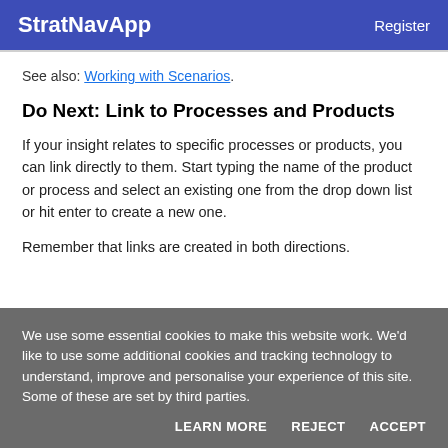StratNavApp   Register
See also: Working with Scenarios.
Do Next: Link to Processes and Products
If your insight relates to specific processes or products, you can link directly to them. Start typing the name of the product or process and select an existing one from the drop down list or hit enter to create a new one.
Remember that links are created in both directions.
We use some essential cookies to make this website work. We'd like to use some additional cookies and tracking technology to understand, improve and personalise your experience of this site. Some of these are set by third parties.